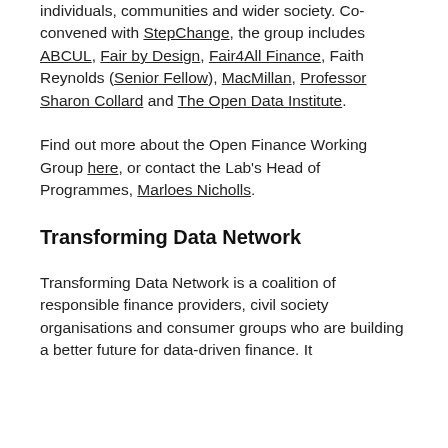individuals, communities and wider society. Co-convened with StepChange, the group includes ABCUL, Fair by Design, Fair4All Finance, Faith Reynolds (Senior Fellow), MacMillan, Professor Sharon Collard and The Open Data Institute.
Find out more about the Open Finance Working Group here, or contact the Lab's Head of Programmes, Marloes Nicholls.
Transforming Data Network
Transforming Data Network is a coalition of responsible finance providers, civil society organisations and consumer groups who are building a better future for data-driven finance. It...